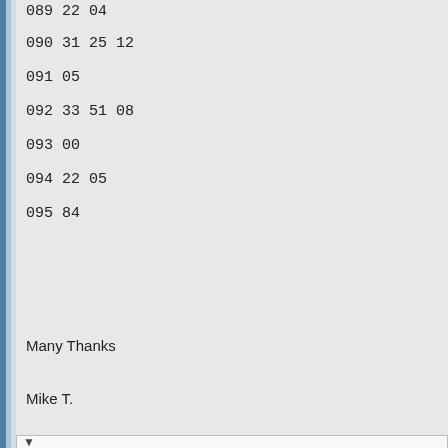089 22 04
090 31 25 12
091 05
092 33 51 08
093 00
094 22 05
095 84
Many Thanks
Mike T.